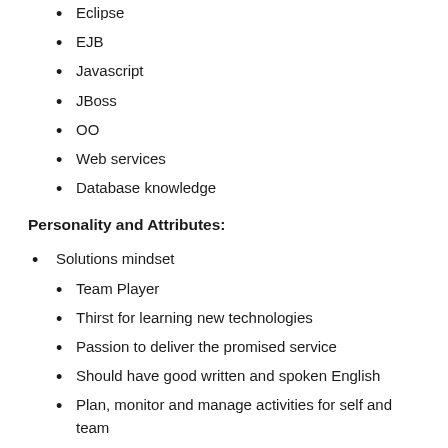Eclipse
EJB
Javascript
JBoss
OO
Web services
Database knowledge
Personality and Attributes:
Solutions mindset
Team Player
Thirst for learning new technologies
Passion to deliver the promised service
Should have good written and spoken English
Plan, monitor and manage activities for self and team
Ability to work independently
Interested, Please share updated CV on